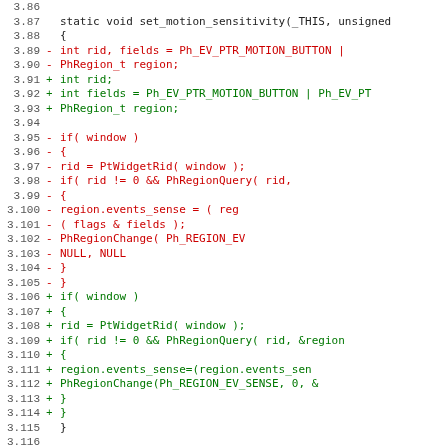[Figure (screenshot): Code diff showing changes to set_motion_sensitivity function in C, lines 3.86 to 3.118, with removed lines in red and added lines in green.]